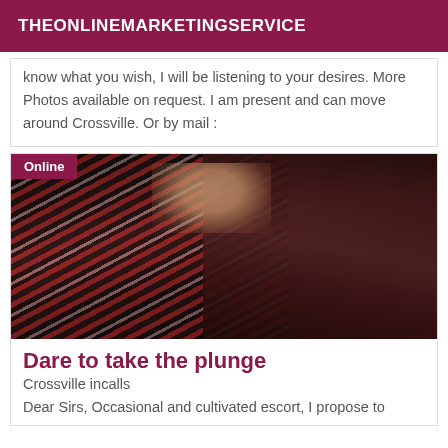THEONLINEMARKETINGSERVICE
know what you wish, I will be listening to your desires. More Photos available on request. I am present and can move around Crossville. Or by mail :
[Figure (photo): Photo of a woman with long dark hair wearing a red and black striped wrap dress, with an 'Online' badge in the top left corner.]
Dare to take the plunge
Crossville incalls
Dear Sirs, Occasional and cultivated escort, I propose to